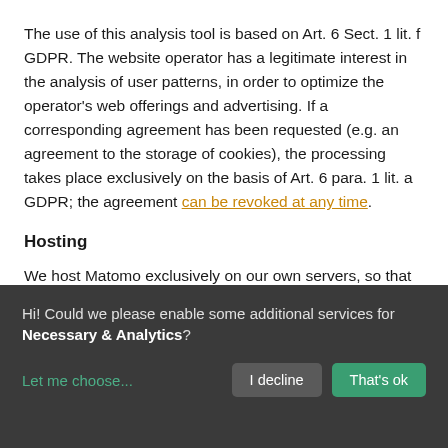The use of this analysis tool is based on Art. 6 Sect. 1 lit. f GDPR. The website operator has a legitimate interest in the analysis of user patterns, in order to optimize the operator's web offerings and advertising. If a corresponding agreement has been requested (e.g. an agreement to the storage of cookies), the processing takes place exclusively on the basis of Art. 6 para. 1 lit. a GDPR; the agreement can be revoked at any time.
Hosting
We host Matomo exclusively on our own servers, so that all analysis data remain with us and are not passed on. Deactivate Matomo
Hi! Could we please enable some additional services for Necessary & Analytics?
Let me choose...
I decline
That's ok